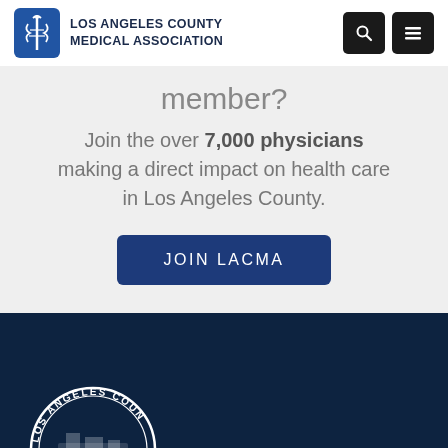[Figure (logo): Los Angeles County Medical Association logo with caduceus icon and text]
member?
Join the over 7,000 physicians making a direct impact on health care in Los Angeles County.
[Figure (illustration): JOIN LACMA button (dark blue rounded rectangle)]
[Figure (logo): Los Angeles County Medical Association circular seal/emblem in white on dark navy background]